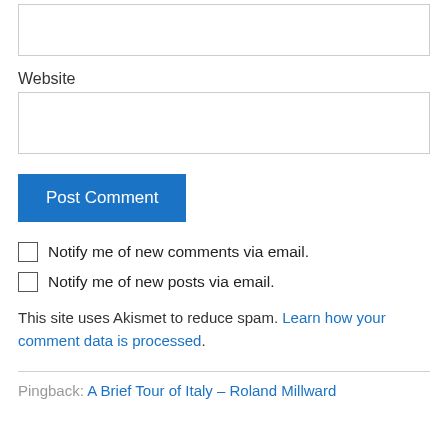[Figure (screenshot): Empty text input box (top of page, partially visible)]
Website
[Figure (screenshot): Empty text input box for Website field]
[Figure (screenshot): Post Comment button (blue)]
Notify me of new comments via email.
Notify me of new posts via email.
This site uses Akismet to reduce spam. Learn how your comment data is processed.
Pingback: A Brief Tour of Italy – Roland Millward